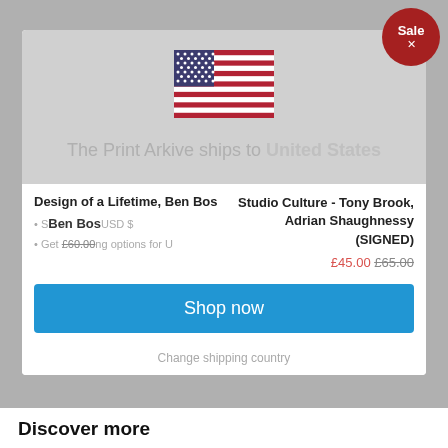[Figure (illustration): Red circular Sale badge with white text 'Sale' and an X mark]
[Figure (illustration): US flag icon]
The Print Arkive ships to United States
Design of a Lifetime, Ben Bos
• Ship via USD $
• Get shipping options for US
£60.00
Studio Culture - Tony Brook, Adrian Shaughnessy (SIGNED)
£45.00 £65.00
Shop now
Change shipping country
Discover more